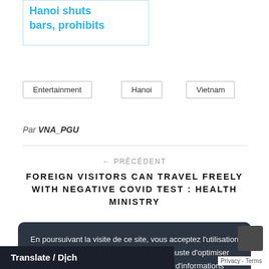Hanoi shuts bars, prohibits
Entertainment
Hanoi
Vietnam
Par VNA_PGU
← PRÉCÉDENT
FOREIGN VISITORS CAN TRAVEL FREELY WITH NEGATIVE COVID TEST : HEALTH MINISTRY
PLUS RÉCENT →
VIETNAM: ACTIVISTS BLOCKED FROM UKRAINE
En poursuivant la visite de ce site, vous acceptez l'utilisation de traceurs (cookies) vous permettant juste d'optimiser techniquement votre navigation. Plus d'informations
Accepter
Translate / Dịch
Privacy - Terms